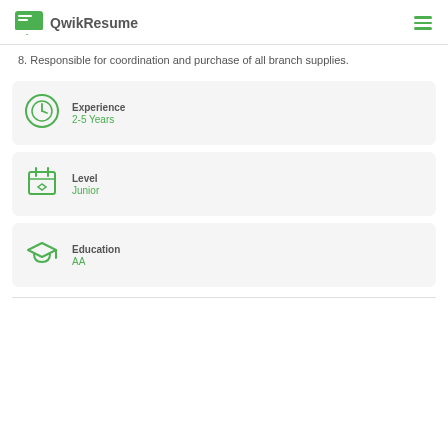QwikResume
8. Responsible for coordination and purchase of all branch supplies.
[Figure (infographic): Experience card with clock icon showing 2-5 Years]
[Figure (infographic): Level card with calendar icon showing Junior]
[Figure (infographic): Education card with graduation cap icon showing AA]